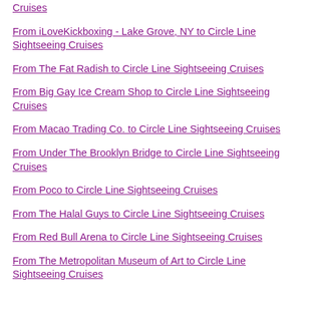Cruises
From iLoveKickboxing - Lake Grove, NY to Circle Line Sightseeing Cruises
From The Fat Radish to Circle Line Sightseeing Cruises
From Big Gay Ice Cream Shop to Circle Line Sightseeing Cruises
From Macao Trading Co. to Circle Line Sightseeing Cruises
From Under The Brooklyn Bridge to Circle Line Sightseeing Cruises
From Poco to Circle Line Sightseeing Cruises
From The Halal Guys to Circle Line Sightseeing Cruises
From Red Bull Arena to Circle Line Sightseeing Cruises
From The Metropolitan Museum of Art to Circle Line Sightseeing Cruises